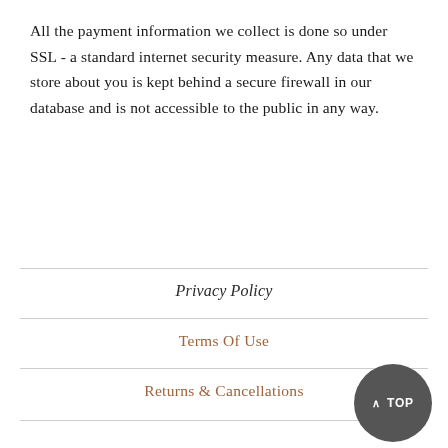All the payment information we collect is done so under SSL - a standard internet security measure. Any data that we store about you is kept behind a secure firewall in our database and is not accessible to the public in any way.
Privacy Policy
Terms Of Use
Returns & Cancellations